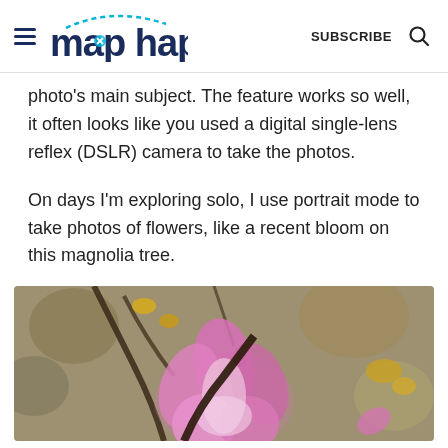map happy  SUBSCRIBE
photo's main subject. The feature works so well, it often looks like you used a digital single-lens reflex (DSLR) camera to take the photos.
On days I'm exploring solo, I use portrait mode to take photos of flowers, like a recent bloom on this magnolia tree.
[Figure (photo): Close-up photo of a magnolia tree bloom with pink/purple petals in sharp focus against a blurred background with branches and other blooms]